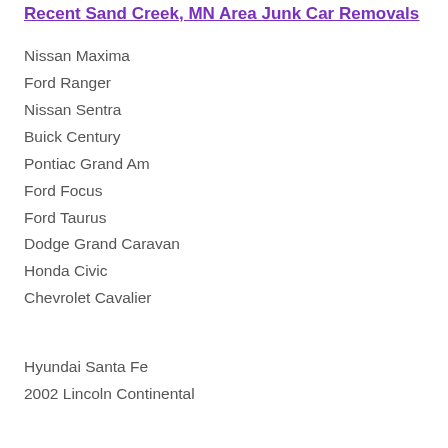Recent Sand Creek, MN Area Junk Car Removals
Nissan Maxima
Ford Ranger
Nissan Sentra
Buick Century
Pontiac Grand Am
Ford Focus
Ford Taurus
Dodge Grand Caravan
Honda Civic
Chevrolet Cavalier
Hyundai Santa Fe
2002 Lincoln Continental